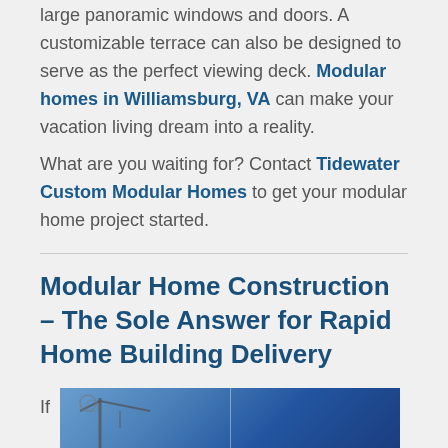large panoramic windows and doors. A customizable terrace can also be designed to serve as the perfect viewing deck. Modular homes in Williamsburg, VA can make your vacation living dream into a reality.
What are you waiting for? Contact Tidewater Custom Modular Homes to get your modular home project started.
Modular Home Construction – The Sole Answer for Rapid Home Building Delivery
If
[Figure (photo): Photograph of construction equipment or crane against a blue sky, partially visible at bottom of page]